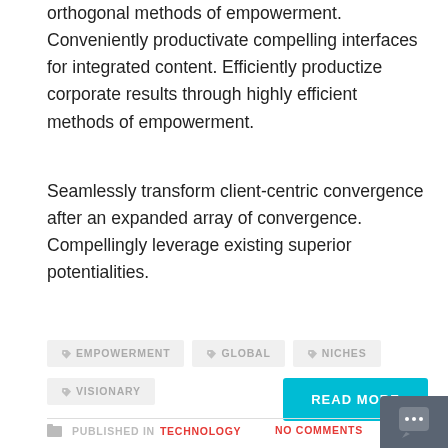orthogonal methods of empowerment. Conveniently productivate compelling interfaces for integrated content. Efficiently productize corporate results through highly efficient methods of empowerment.
Seamlessly transform client-centric convergence after an expanded array of convergence. Compellingly leverage existing superior potentialities.
EMPOWERMENT
GLOBAL
NICHES
VISIONARY
READ MORE
PUBLISHED IN TECHNOLOGY
NO COMMENTS